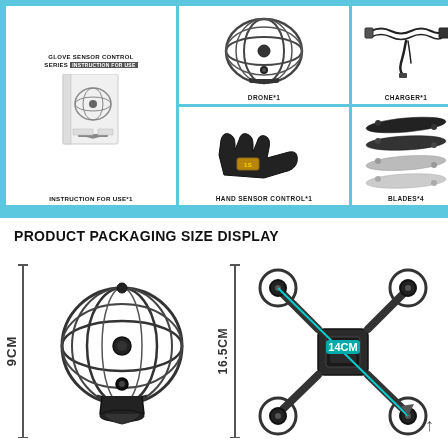[Figure (photo): Product packaging contents display: drone sphere cage, charger, hand sensor control, blades x4, instruction manual. Items shown on light blue background grid.]
DRONE*1
CHARGER*1
HAND SENSOR CONTROL*1
BLADES*4
INSTRUCTION FOR USE*1
PRODUCT PACKAGING SIZE DISPLAY
[Figure (photo): Drone in spherical cage enclosure shown with vertical dimension bracket labeled 9CM on left side.]
[Figure (photo): Drone top-down view (quadcopter flat layout) with vertical dimension 16.5CM and diagonal dimension 14CM labeled with cyan line and arrow.]